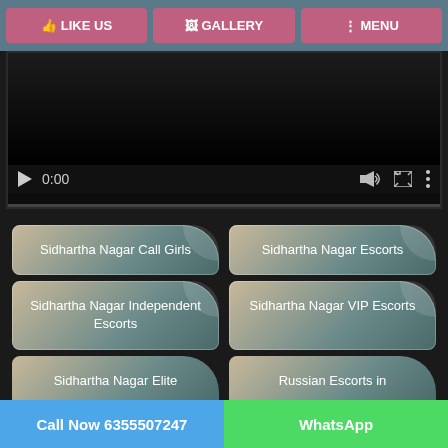LIKE US | GALLERY | MENU
[Figure (screenshot): Video player with play button, 0:00 timestamp, volume, fullscreen, and more icons on dark background]
Sidhartha Nagar Call Girls
Sidhartha Nagar Escorts
Sidhartha Nagar Independent Escorts
Sidhartha Nagar VIP Escorts
Sidhartha Nagar Elite
Russian Escorts in
Call Now 6355507247 | WhatsApp